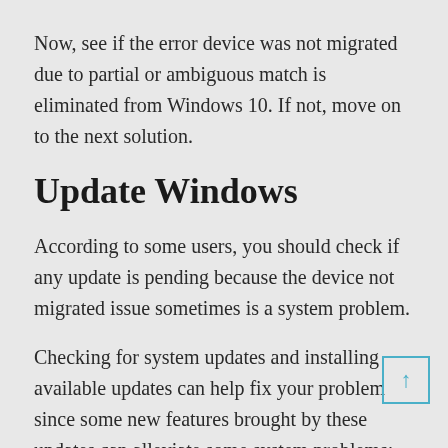Now, see if the error device was not migrated due to partial or ambiguous match is eliminated from Windows 10. If not, move on to the next solution.
Update Windows
According to some users, you should check if any update is pending because the device not migrated issue sometimes is a system problem.
Checking for system updates and installing available updates can help fix your problem since some new features brought by these updates can alleviate some system problems; for example, the device could not be migrated in Windows 10.